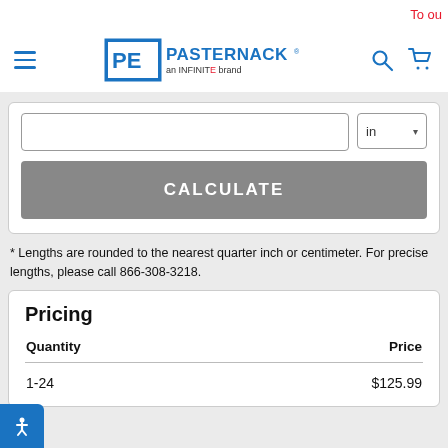To ou
[Figure (logo): Pasternack - an INFINITE brand logo with PE shield emblem]
[Figure (screenshot): Length input field with 'in' unit dropdown selector]
[Figure (screenshot): CALCULATE button (gray background, white bold text)]
* Lengths are rounded to the nearest quarter inch or centimeter. For precise lengths, please call 866-308-3218.
Pricing
| Quantity | Price |
| --- | --- |
| 1-24 | $125.99 |